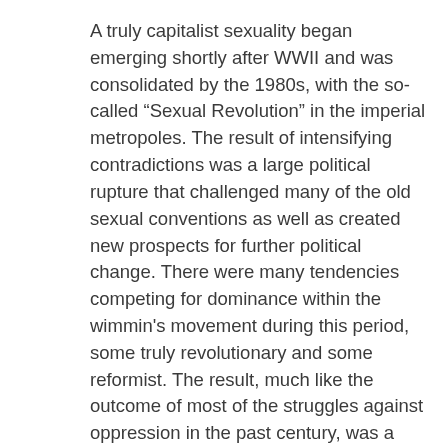A truly capitalist sexuality began emerging shortly after WWII and was consolidated by the 1980s, with the so-called “Sexual Revolution” in the imperial metropoles. The result of intensifying contradictions was a large political rupture that challenged many of the old sexual conventions as well as created new prospects for further political change. There were many tendencies competing for dominance within the wimmin's movement during this period, some truly revolutionary and some reformist. The result, much like the outcome of most of the struggles against oppression in the past century, was a compromise between neoliberal and postmodernist segments and the bourgeois establishment. Broadly speaking, the progressives at the forefront of capitalist liberalization — fighting for “democracy”, “humyn rights”, and the right of everyone to the equalizing majesty of the market — also sought to apply the same principles to sexuality. Taboos and ...